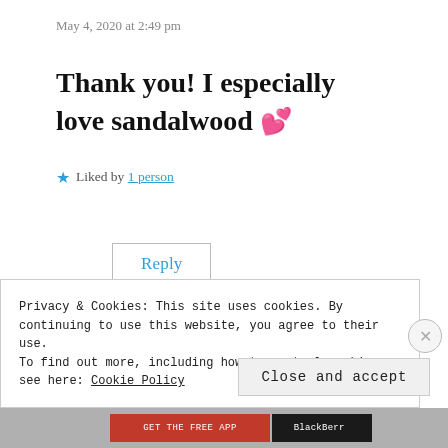May 4, 2020 at 2:49 pm
Thank you! I especially love sandalwood 💕
★ Liked by 1 person
Reply
Privacy & Cookies: This site uses cookies. By continuing to use this website, you agree to their use.
To find out more, including how to control cookies, see here: Cookie Policy
Close and accept